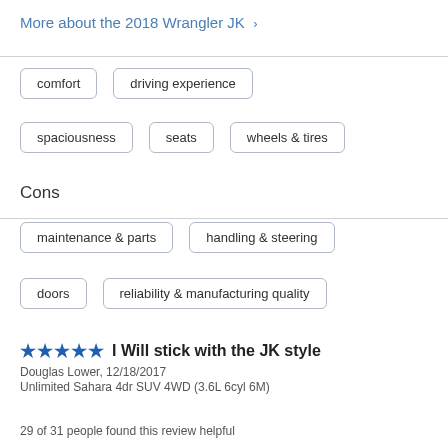More about the 2018 Wrangler JK >
comfort
driving experience
spaciousness
seats
wheels & tires
Cons
maintenance & parts
handling & steering
doors
reliability & manufacturing quality
I Will stick with the JK style
Douglas Lower, 12/18/2017
Unlimited Sahara 4dr SUV 4WD (3.6L 6cyl 6M)
29 of 31 people found this review helpful